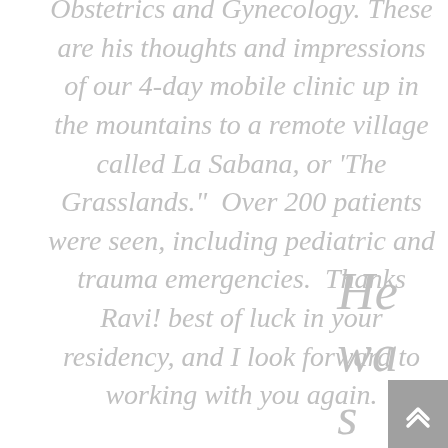Obstetrics and Gynecology. These are his thoughts and impressions of our 4-day mobile clinic up in the mountains to a remote village called La Sabana, or 'The Grasslands.' Over 200 patients were seen, including pediatric and trauma emergencies. Thanks Ravi! best of luck in your residency, and I look forward to working with you again.
He was